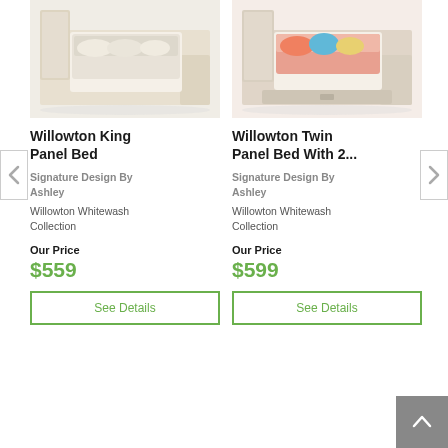[Figure (photo): Photo of Willowton King Panel Bed in whitewash finish with neutral bedding]
[Figure (photo): Photo of Willowton Twin Panel Bed with Storage in whitewash finish with colorful bedding]
Willowton King Panel Bed
Willowton Twin Panel Bed With 2...
Signature Design By Ashley
Signature Design By Ashley
Willowton Whitewash Collection
Willowton Whitewash Collection
Our Price
$559
Our Price
$599
See Details
See Details